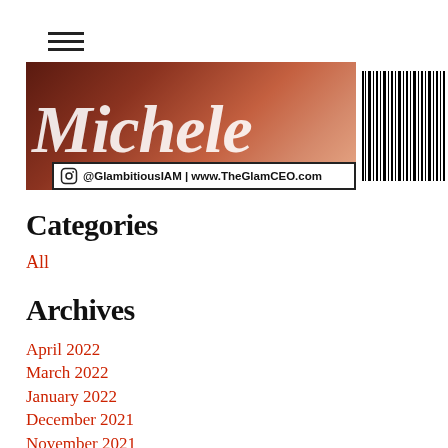[Figure (logo): Hamburger menu icon (three horizontal lines)]
[Figure (photo): Website banner showing script text 'Michele' in white on a warm brown/reddish background, with an Instagram handle '@GlambitiousIAM | www.TheGlamCEO.com' and a barcode on the right side]
Categories
All
Archives
April 2022
March 2022
January 2022
December 2021
November 2021
October 2021
September 2021
August 2021